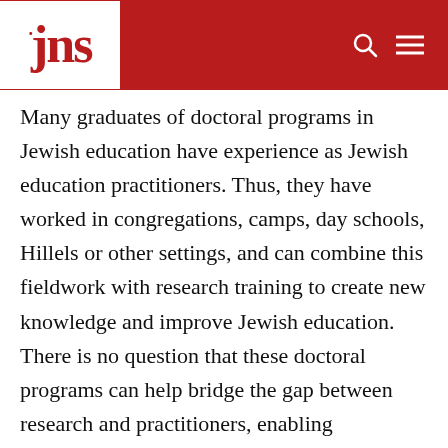jns
Many graduates of doctoral programs in Jewish education have experience as Jewish education practitioners. Thus, they have worked in congregations, camps, day schools, Hillels or other settings, and can combine this fieldwork with research training to create new knowledge and improve Jewish education. There is no question that these doctoral programs can help bridge the gap between research and practitioners, enabling individuals in Jewish education projects to expand the impact of their own work.